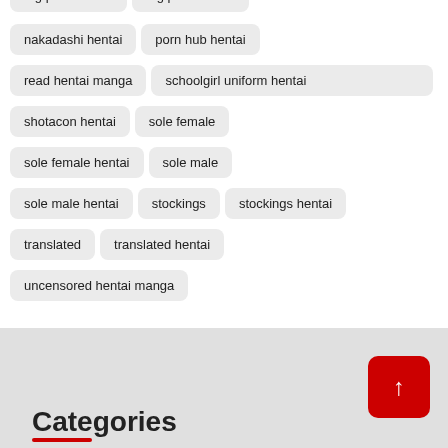nakadashi hentai
porn hub hentai
read hentai manga
schoolgirl uniform hentai
shotacon hentai
sole female
sole female hentai
sole male
sole male hentai
stockings
stockings hentai
translated
translated hentai
uncensored hentai manga
Categories